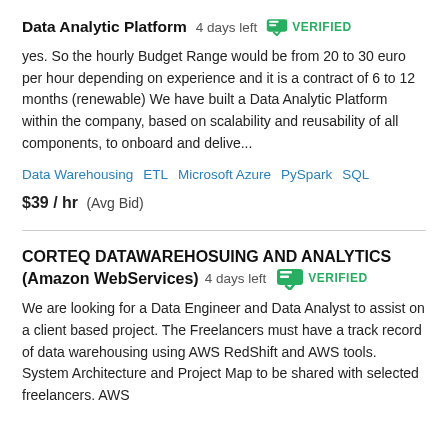Data Analytic Platform  4 days left  VERIFIED
yes. So the hourly Budget Range would be from 20 to 30 euro per hour depending on experience and it is a contract of 6 to 12 months (renewable) We have built a Data Analytic Platform within the company, based on scalability and reusability of all components, to onboard and delive...
Data Warehousing   ETL   Microsoft Azure   PySpark   SQL
$39 / hr   (Avg Bid)
CORTEQ DATAWAREHOSUING AND ANALYTICS (Amazon WebServices)  4 days left  VERIFIED
We are looking for a Data Engineer and Data Analyst to assist on a client based project. The Freelancers must have a track record of data warehousing using AWS RedShift and AWS tools. System Architecture and Project Map to be shared with selected freelancers. AWS